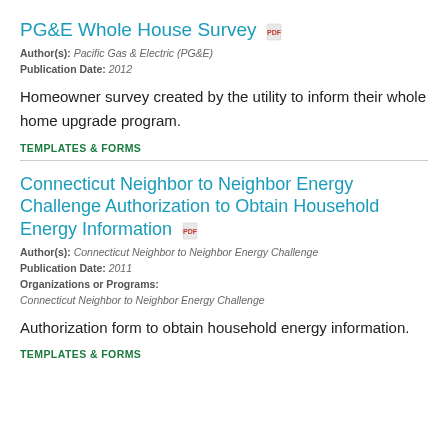PG&E Whole House Survey
Author(s): Pacific Gas & Electric (PG&E)
Publication Date: 2012
Homeowner survey created by the utility to inform their whole home upgrade program.
TEMPLATES & FORMS
Connecticut Neighbor to Neighbor Energy Challenge Authorization to Obtain Household Energy Information
Author(s): Connecticut Neighbor to Neighbor Energy Challenge
Publication Date: 2011
Organizations or Programs: Connecticut Neighbor to Neighbor Energy Challenge
Authorization form to obtain household energy information.
TEMPLATES & FORMS